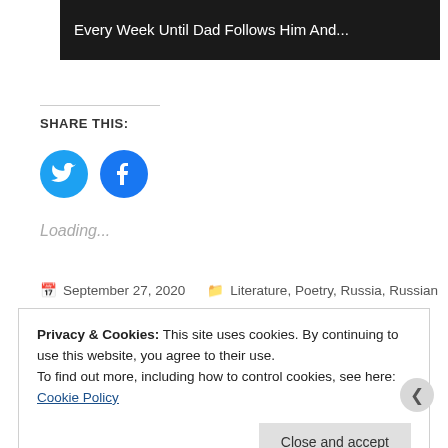[Figure (photo): Dark banner image with white text: 'Every Week Until Dad Follows Him And...']
SHARE THIS:
[Figure (illustration): Twitter and Facebook share icon circles in blue]
Loading...
September 27, 2020   Literature, Poetry, Russia, Russian
Privacy & Cookies: This site uses cookies. By continuing to use this website, you agree to their use.
To find out more, including how to control cookies, see here: Cookie Policy
Close and accept